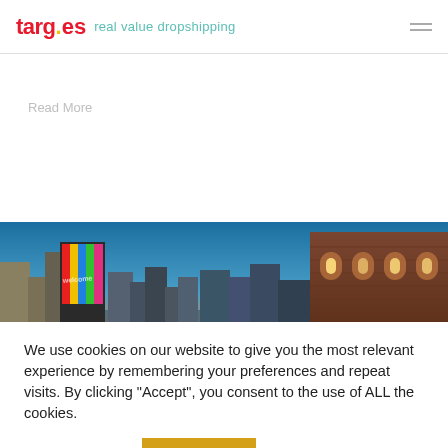targ.es real value dropshipping
Read More
[Figure (photo): Cityscape at dusk showing urban buildings including a brick tower building on the right and a colorful illuminated billboard on the left, against a blue-orange sky]
We use cookies on our website to give you the most relevant experience by remembering your preferences and repeat visits. By clicking “Accept”, you consent to the use of ALL the cookies.
Cookie settings    ACCEPT